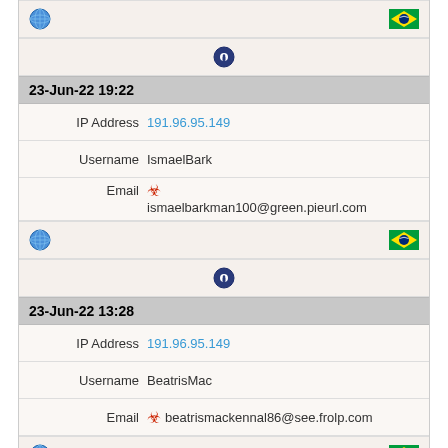[Figure (other): Row with globe icon on left and Brazilian flag on right]
[Figure (other): Centered lock/info icon row]
23-Jun-22 19:22
IP Address  191.96.95.149
Username  IsmaelBark
Email  ismaelbarkman100@green.pieurl.com
[Figure (other): Row with globe icon on left and Brazilian flag on right]
[Figure (other): Centered lock/info icon row]
23-Jun-22 13:28
IP Address  191.96.95.149
Username  BeatrisMac
Email  beatrismackennal86@see.frolp.com
[Figure (other): Row with globe icon on left and Brazilian flag on right]
[Figure (other): Centered lock/info icon row]
23-Jun-22 12:25
IP Address  191.96.95.149
Username  YasminDrop